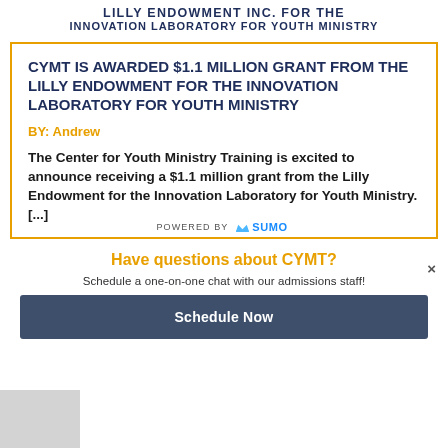LILLY ENDOWMENT INC. FOR THE INNOVATION LABORATORY FOR YOUTH MINISTRY
CYMT IS AWARDED $1.1 MILLION GRANT FROM THE LILLY ENDOWMENT FOR THE INNOVATION LABORATORY FOR YOUTH MINISTRY
BY: Andrew
The Center for Youth Ministry Training is excited to announce receiving a $1.1 million grant from the Lilly Endowment for the Innovation Laboratory for Youth Ministry. [...]
Have questions about CYMT?
Schedule a one-on-one chat with our admissions staff!
Schedule Now